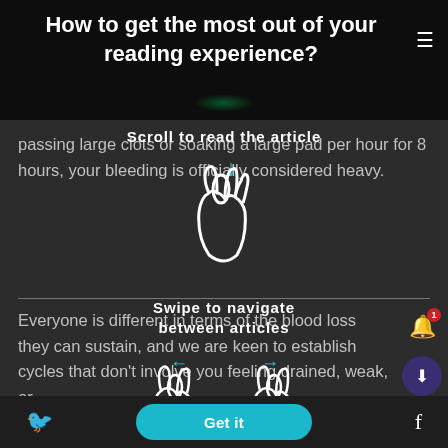How to get the most out of your reading experience?
...are passing large clots or soaking a large pad per hour for 8 hours, your bleeding is officially considered heavy.
[Figure (infographic): Scroll gesture overlay showing a hand with downward arrow and text 'Scroll to read the article']
Everyone is different in terms of the blood loss they can sustain, and we are keen to establish cycles that don't involve you feeling drained, weak, or
[Figure (infographic): Swipe gesture overlay showing two hands with left and right arrows and text 'Swipe to navigate between articles']
[Figure (screenshot): UI elements: notification bell with badge '1', download button, scroll-up button on right side; Twitter and Facebook icons at bottom; teal 'Get it' button]